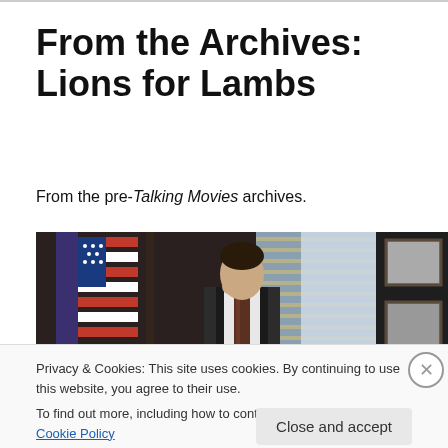From the Archives: Lions for Lambs
From the pre-Talking Movies archives.
[Figure (photo): Film still from Lions for Lambs showing a man in a suit and vest standing in an office with an American flag, holding his hand near his face, with framed photos on the wall behind him.]
Privacy & Cookies: This site uses cookies. By continuing to use this website, you agree to their use.
To find out more, including how to control cookies, see here: Cookie Policy
Close and accept